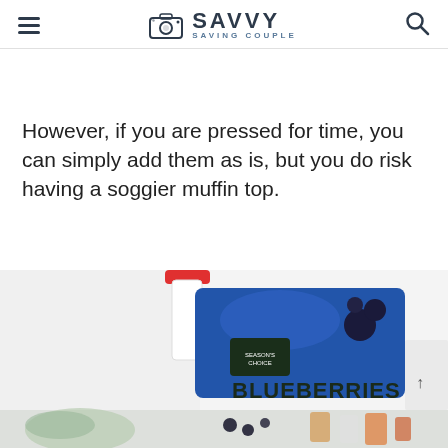SAVVY SAVING COUPLE
However, if you are pressed for time, you can simply add them as is, but you do risk having a soggier muffin top.
[Figure (photo): A bag of Season's Choice frozen blueberries shown partially, with a red-capped white container to the left. Below is a partially visible secondary image with tropical leaf, blueberries, and drink containers.]